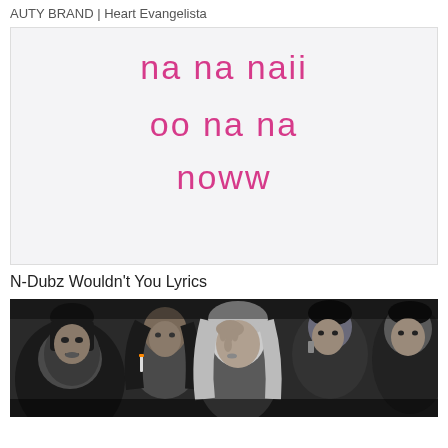AUTY BRAND | Heart Evangelista
[Figure (illustration): Pink text on light gray background showing lyrics: 'na na naii', 'oo na na', 'noww' in a rounded pink font]
N-Dubz Wouldn't You Lyrics
[Figure (photo): Black and white photo of a crowd of people, several women visible in the foreground looking stressed or concerned]